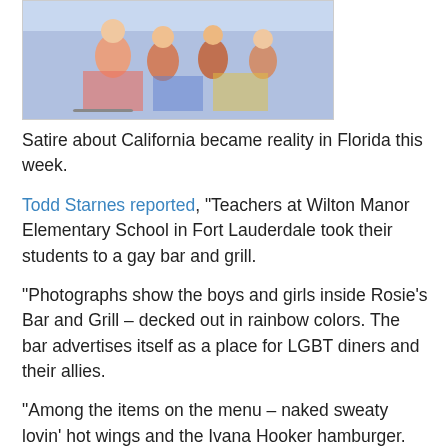[Figure (photo): Photo showing children and adults at what appears to be an outdoor event or venue, partially visible at top of page]
Satire about California became reality in Florida this week.
Todd Starnes reported, "Teachers at Wilton Manor Elementary School in Fort Lauderdale took their students to a gay bar and grill.
"Photographs show the boys and girls inside Rosie's Bar and Grill – decked out in rainbow colors. The bar advertises itself as a place for LGBT diners and their allies.
"Among the items on the menu – naked sweaty lovin' hot wings and the Ivana Hooker hamburger.
"Broward County School Board member Sarah Leonardi was invited to chaperone and she posted photos on Twitter."
Other offerings are Rhoda Cowboy, Hellena Bun, and Georgia Bleu.